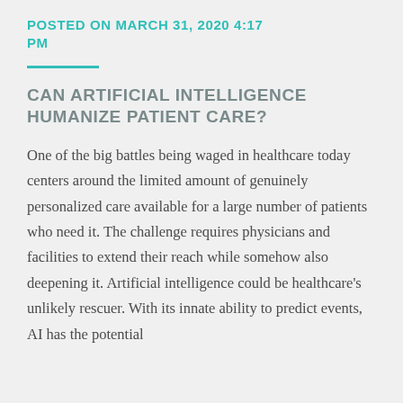POSTED ON MARCH 31, 2020 4:17 PM
CAN ARTIFICIAL INTELLIGENCE HUMANIZE PATIENT CARE?
One of the big battles being waged in healthcare today centers around the limited amount of genuinely personalized care available for a large number of patients who need it. The challenge requires physicians and facilities to extend their reach while somehow also deepening it. Artificial intelligence could be healthcare's unlikely rescuer. With its innate ability to predict events, AI has the potential